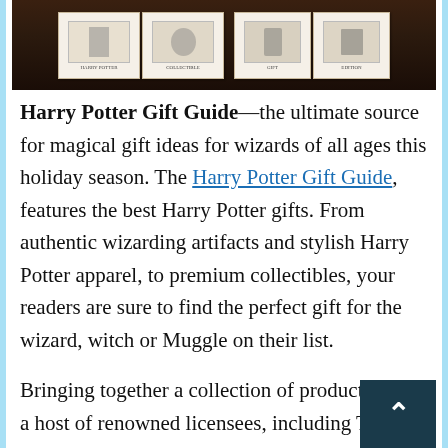[Figure (photo): A dark brown background image showing what appears to be Harry Potter merchandise or stamp/card products arranged side by side, photographed against a dark wooden surface.]
Harry Potter Gift Guide—the ultimate source for magical gift ideas for wizards of all ages this holiday season. The Harry Potter Gift Guide, features the best Harry Potter gifts. From authentic wizarding artifacts and stylish Harry Potter apparel, to premium collectibles, your readers are sure to find the perfect gift for the wizard, witch or Muggle on their list.
Bringing together a collection of products from a host of renowned licensees, including The Noble Collection, MinaLima, Insight Editions,